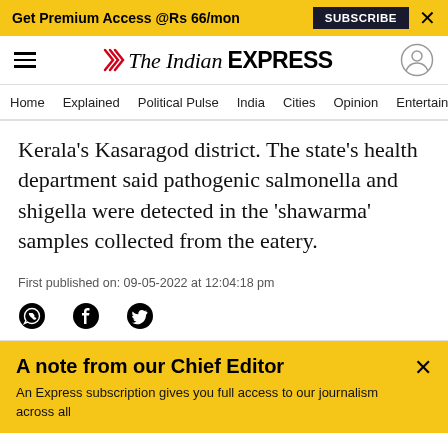Get Premium Access @Rs 66/mon  SUBSCRIBE  ×
[Figure (logo): The Indian Express logo with hamburger menu and user icon]
Home  Explained  Political Pulse  India  Cities  Opinion  Entertainment
Kerala's Kasaragod district. The state's health department said pathogenic salmonella and shigella were detected in the 'shawarma' samples collected from the eatery.
First published on: 09-05-2022 at 12:04:18 pm
[Figure (illustration): Social share icons: WhatsApp, Facebook, Twitter]
A note from our Chief Editor
An Express subscription gives you full access to our journalism across all